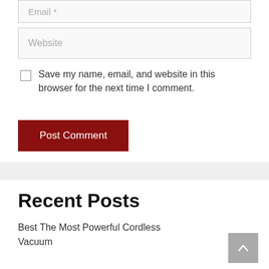Email *
Website
Save my name, email, and website in this browser for the next time I comment.
Post Comment
Recent Posts
Best The Most Powerful Cordless Vacuum